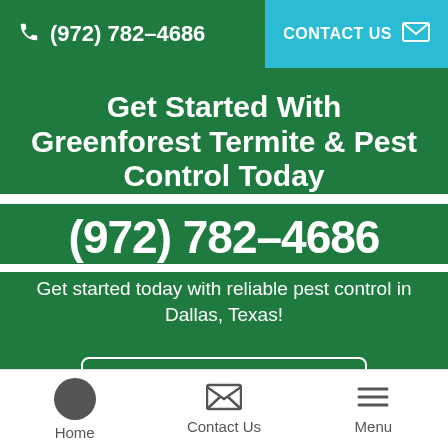(972) 782-4686  CONTACT US
Get Started With Greenforest Termite & Pest Control Today
(972) 782-4686
Get started today with reliable pest control in Dallas, Texas!
Contact Us
Home  Contact Us  Menu